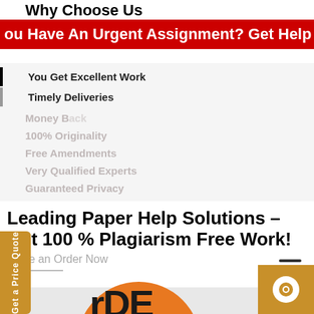Why Choose us
You Have An Urgent Assignment? Get Help No
You Get Excellent Work
Timely Deliveries
Money B...
100% Originality
Free Amendments
Very Qualified Experts
Guaranteed Privacy
Money BAck guarantee
Leading Paper Help Solutions – Get 100 % Plagiarism Free Work!
Place an Order Now
[Figure (screenshot): Orange circle logo with text 'ORDER' visible, partially cropped]